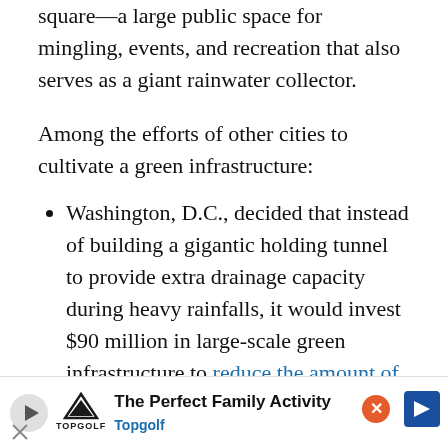Benthemplein Water Square, the world's first water square—a large public space for mingling, events, and recreation that also serves as a giant rainwater collector.
Among the efforts of other cities to cultivate a green infrastructure:
Washington, D.C., decided that instead of building a gigantic holding tunnel to provide extra drainage capacity during heavy rainfalls, it would invest $90 million in large-scale green infrastructure to reduce the amount of stormwater that had to be handled by tunnels.
Paris's overall greening program includes [partially obscured by ad banner]